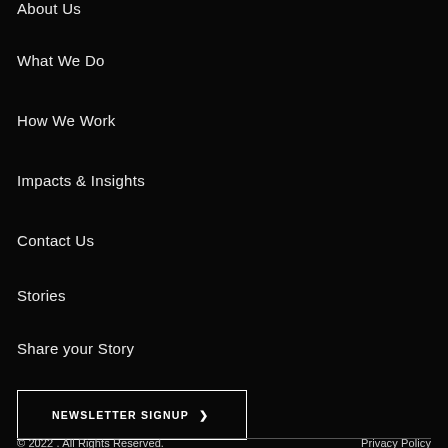About Us
What We Do
How We Work
Impacts & Insights
Contact Us
Stories
Share your Story
NEWSLETTER SIGNUP ❯
© 2022 . All Rights Reserved.    Privacy Policy